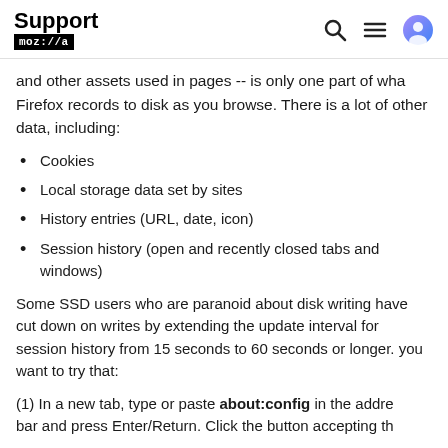Support mozilla//a
and other assets used in pages -- is only one part of what Firefox records to disk as you browse. There is a lot of other data, including:
Cookies
Local storage data set by sites
History entries (URL, date, icon)
Session history (open and recently closed tabs and windows)
Some SSD users who are paranoid about disk writing have cut down on writes by extending the update interval for session history from 15 seconds to 60 seconds or longer. you want to try that:
(1) In a new tab, type or paste about:config in the addre bar and press Enter/Return. Click the button accepting th